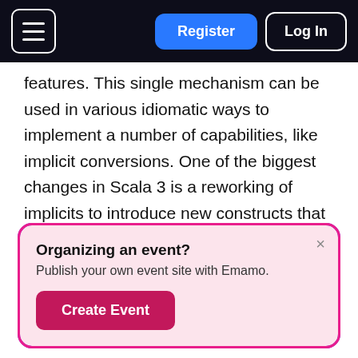Register | Log In
features. This single mechanism can be used in various idiomatic ways to implement a number of capabilities, like implicit conversions. One of the biggest changes in Scala 3 is a reworking of implicits to introduce new constructs that make the capabilities more intuitive, with less emphasis on a single mechanism.

The new constructs include extension
[Figure (screenshot): A popup dialog box with a gradient purple-to-pink border on a light pink background. Title: 'Organizing an event?' Subtitle: 'Publish your own event site with Emamo.' A 'Create Event' button in dark pink/crimson. An × close button in the top right corner.]